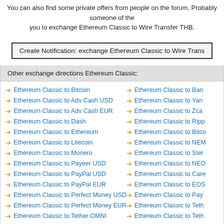You can also find some private offers from people on the forum. Probably someone of the you to exchange Ethereum Classic to Wire Transfer THB.
Create Notification: exchange Ethereum Classic to Wire Trans
Other exchange directions Ethereum Classic:
Ethereum Classic to Bitcoin
Ethereum Classic to Adv Cash USD
Ethereum Classic to Adv Cash EUR
Ethereum Classic to Dash
Ethereum Classic to Ethereum
Ethereum Classic to Litecoin
Ethereum Classic to Monero
Ethereum Classic to Payeer USD
Ethereum Classic to PayPal USD
Ethereum Classic to PayPal EUR
Ethereum Classic to Perfect Money USD
Ethereum Classic to Perfect Money EUR
Ethereum Classic to Tether OMNI
Ethereum Classic to Bank Card USD
Ethereum Classic to Ban
Ethereum Classic to Yan
Ethereum Classic to Zca
Ethereum Classic to Ripp
Ethereum Classic to Bitco
Ethereum Classic to NEM
Ethereum Classic to Stel
Ethereum Classic to NEO
Ethereum Classic to Care
Ethereum Classic to EOS
Ethereum Classic to Pay
Ethereum Classic to Teth
Ethereum Classic to Teth